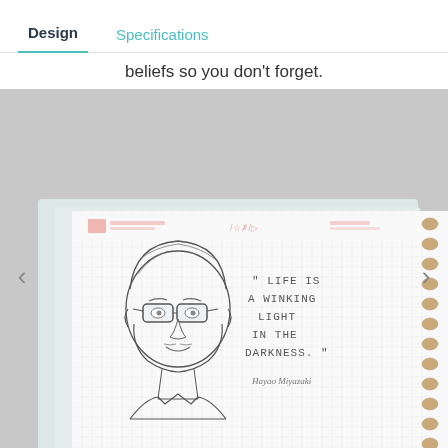Design | Specifications
beliefs so you don't forget.
[Figure (photo): A spiral-bound notebook open to a page showing a hand-drawn portrait of Hayao Miyazaki with a handwritten quote: 'Life is a winking light in the darkness.' - Hayao Miyazaki. The notebook has faint grid lines and appears to be a Rocketbook-style notebook.]